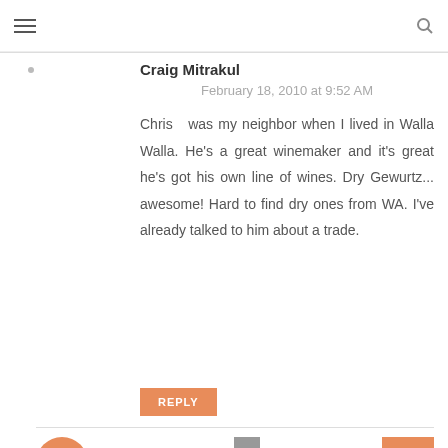Craig Mitrakul
February 18, 2010 at 9:52 AM
Chris was my neighbor when I lived in Walla Walla. He's a great winemaker and it's great he's got his own line of wines. Dry Gewurtz... awesome! Hard to find dry ones from WA. I've already talked to him about a trade.
REPLY
Sean P. Sullivan
February 18, 2010 at 10:24 AM